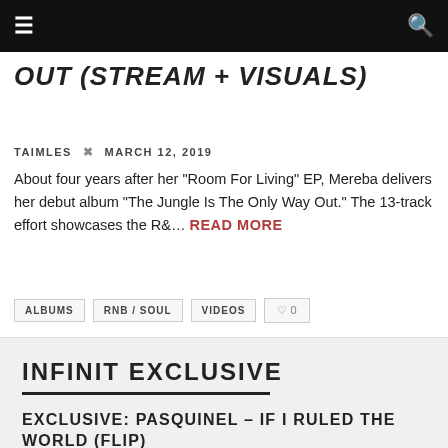≡  🔍
OUT (STREAM + VISUALS)
TAIMLES × MARCH 12, 2019
About four years after her "Room For Living" EP, Mereba delivers her debut album "The Jungle Is The Only Way Out." The 13-track effort showcases the R&... READ MORE
ALBUMS
RNB / SOUL
VIDEOS
♡ 0
INFINIT EXCLUSIVE
EXCLUSIVE: PASQUINEL – IF I RULED THE WORLD (FLIP)